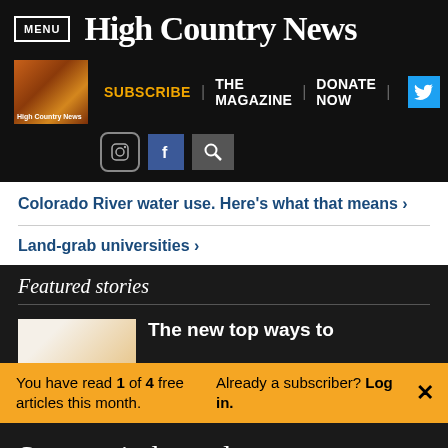MENU | High Country News
[Figure (screenshot): Navigation bar with High Country News magazine thumbnail, SUBSCRIBE | THE MAGAZINE | DONATE NOW links, Twitter button, Instagram, Facebook, and search icons]
Colorado River water use. Here's what that means ›
Land-grab universities ›
Featured stories
The new top ways to
You have read 1 of 4 free articles this month. Already a subscriber? Log in. ×
Support independent journalism. Subscribe